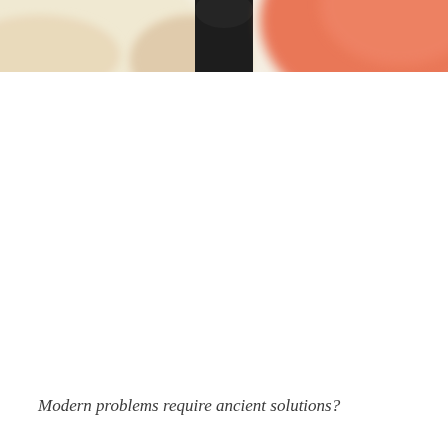[Figure (photo): Cropped photo at top of page showing blurred figures with beige/cream tones on left, a dark black shape in the center-top, and a large blurred orange-red circular shape on the right. The image is partially cropped showing only the bottom portion of the scene.]
Modern problems require ancient solutions?